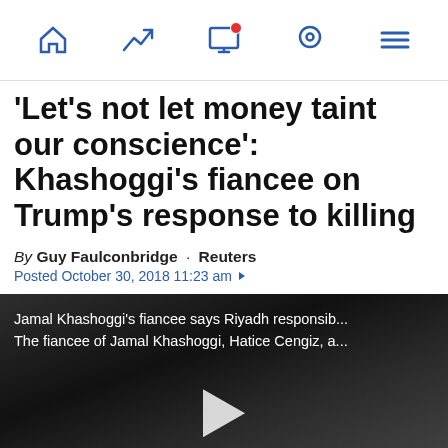Navigation bar with home, trending, notifications, location, and menu icons
'Let's not let money taint our conscience': Khashoggi's fiancee on Trump's response to killing
By Guy Faulconbridge · Reuters
Posted October 30, 2018 11:23 am
[Figure (screenshot): Video thumbnail showing Jamal Khashoggi's fiancee with overlay text: 'Jamal Khashoggi's fiancee says Riyadh responsib... The fiancee of Jamal Khashoggi, Hatice Cengiz, a...' and a play button in the center]